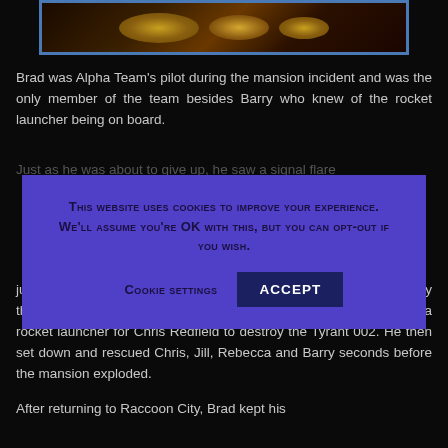[Figure (photo): A dark game screenshot or image with gold decorative elements, framed with a blue border]
Brad was Alpha Team's pilot during the mansion incident and was the only member of the team besides Barry who knew of the rocket launcher being on board.
Just as he was about to give up, he saw a signal flare being set off by the heliport and headed over and redeemed himself by dropping a rocket launcher for Chris Redfield to destroy the Tyrant 002. He then set down and rescued Chris, Jill, Rebecca and Barry seconds before the mansion exploded.
After returning to Raccoon City, Brad kept his
[Figure (other): Cookie consent banner overlay with purple/blue background. Text reads: THIS WEBSITE USES COOKIES TO IMPROVE YOUR EXPERIENCE. WE'LL ASSUME YOU'RE OK WITH THIS, BUT YOU CAN OPT-OUT IF YOU WISH. With Cookie Settings link and ACCEPT button.]